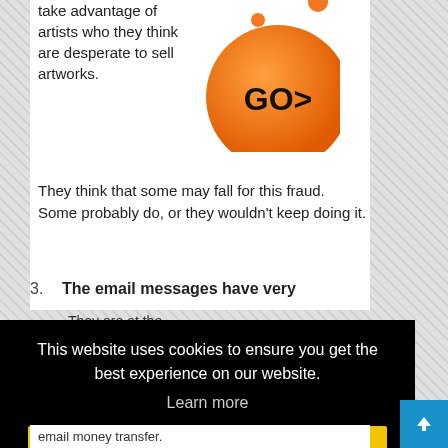take advantage of artists who they think are desperate to sell artworks. They think that some may fall for this fraud. Some probably do, or they wouldn't keep doing it.
[Figure (illustration): Orange circular GO> button graphic with a smaller orange circle above it]
3. The email messages have very
This website uses cookies to ensure you get the best experience on our website.
Learn more
Got it!
email money transfer.